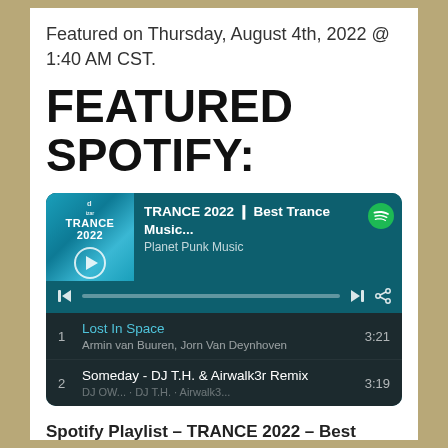Featured on Thursday, August 4th, 2022 @ 1:40 AM CST.
FEATURED SPOTIFY:
[Figure (screenshot): Spotify embedded player showing the playlist 'TRANCE 2022 ❙ Best Trance Music...' by Planet Punk Music. Track 1: Lost In Space by Armin van Buuren, Jorn Van Deynhoven (3:21). Track 2: Someday - DJ T.H. & Airwalk3r Remix (3:19).]
Spotify Playlist – TRANCE 2022 – Best Trance Music Official TOP 100 – [link]
Some of the best trance music tracks in one of